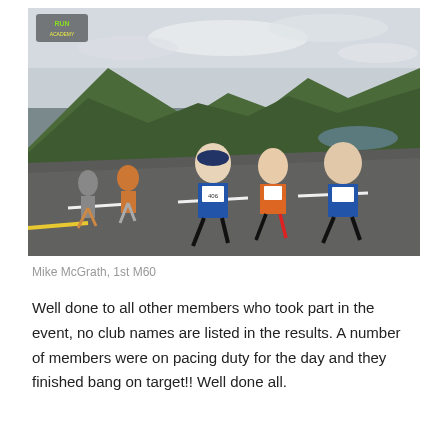[Figure (photo): Runners racing on a road with green hills and a lake in the background. Several runners in blue vests and one in orange are competing. A running event logo is visible in the top left corner of the image.]
Mike McGrath, 1st M60
Well done to all other members who took part in the event, no club names are listed in the results. A number of members were on pacing duty for the day and they finished bang on target!! Well done all.